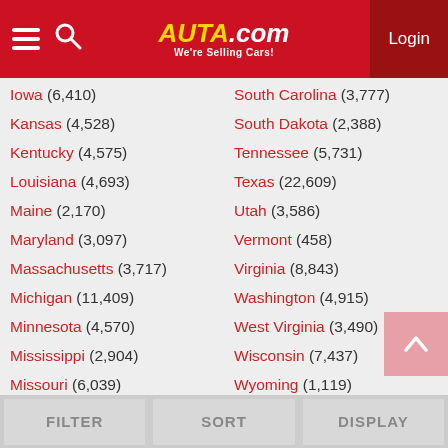Auta.com — We're Selling Cars! | Login
Iowa (6,410)
South Carolina (3,777)
Kansas (4,528)
South Dakota (2,388)
Kentucky (4,575)
Tennessee (5,731)
Louisiana (4,693)
Texas (22,609)
Maine (2,170)
Utah (3,586)
Maryland (3,097)
Vermont (458)
Massachusetts (3,717)
Virginia (8,843)
Michigan (11,409)
Washington (4,915)
Minnesota (4,570)
West Virginia (3,490)
Mississippi (2,904)
Wisconsin (7,437)
Missouri (6,039)
Wyoming (1,119)
Montana (1,653)
FILTER | SORT | DISPLAY